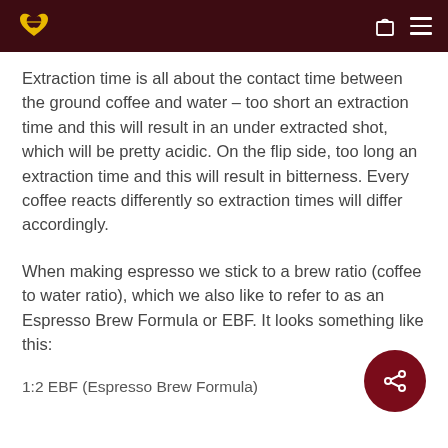[Coffee brand logo] [cart icon] [menu icon]
Extraction time is all about the contact time between the ground coffee and water – too short an extraction time and this will result in an under extracted shot, which will be pretty acidic. On the flip side, too long an extraction time and this will result in bitterness. Every coffee reacts differently so extraction times will differ accordingly.
When making espresso we stick to a brew ratio (coffee to water ratio), which we also like to refer to as an Espresso Brew Formula or EBF. It looks something like this:
1:2 EBF (Espresso Brew Formula)